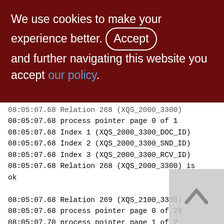We use cookies to make your experience better. By accepting and further navigating this website you accept our policy.
08:05:07.68 Relation 268 (XQS_2000_3300)
08:05:07.68 process pointer page 0 of 1
08:05:07.68 Index 1 (XQS_2000_3300_DOC_ID)
08:05:07.68 Index 2 (XQS_2000_3300_SND_ID)
08:05:07.68 Index 3 (XQS_2000_3300_RCV_ID)
08:05:07.68 Relation 268 (XQS_2000_3300) is ok

08:05:07.68 Relation 269 (XQS_2100_3300)
08:05:07.68 process pointer page 0 of 29
08:05:07.70 process pointer page 1 of 29
08:05:07.72 process pointer page 2 of 29
08:05:07.74 process pointer page 3 of 29